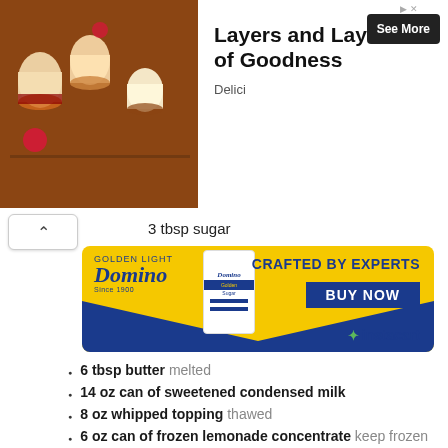[Figure (photo): Top advertisement banner showing layered desserts in jars with text 'Layers and Layers of Goodness' and 'Delici' brand with a 'See More' button]
3 tbsp sugar
[Figure (other): Domino Golden Sugar advertisement banner with yellow background, Domino logo, sugar bag image, 'CRAFTED BY EXPERTS', 'BUY NOW' button, and instacart logo]
6 tbsp butter melted
14 oz can of sweetened condensed milk
8 oz whipped topping thawed
6 oz can of frozen lemonade concentrate keep frozen
[Figure (other): Purple 'Make Recipe' button]
Powered by chicory
[Figure (photo): Bottom advertisement showing a burger/sandwich image on the left and Bush's Best logo on the right]